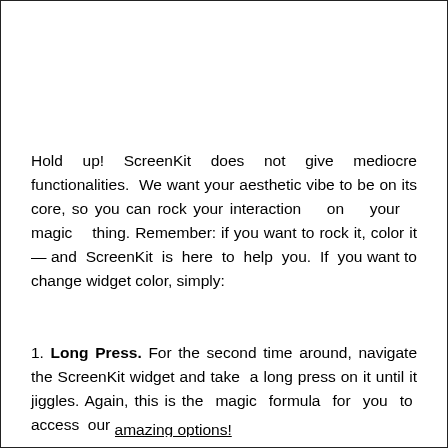Hold up! ScreenKit does not give mediocre functionalities. We want your aesthetic vibe to be on its core, so you can rock your interaction on your magic thing. Remember: if you want to rock it, color it — and ScreenKit is here to help you. If you want to change widget color, simply:
1. Long Press. For the second time around, navigate the ScreenKit widget and take a long press on it until it jiggles. Again, this is the magic formula for you to access our amazing options!